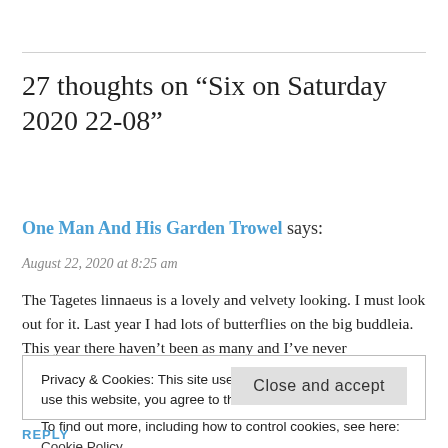27 thoughts on “Six on Saturday 2020 22-08”
One Man And His Garden Trowel says:
August 22, 2020 at 8:25 am
The Tagetes linnaeus is a lovely and velvety looking. I must look out for it. Last year I had lots of butterflies on the big buddleia. This year there haven’t been as many and I’ve never
Privacy & Cookies: This site uses cookies. By continuing to use this website, you agree to their use.
To find out more, including how to control cookies, see here:
Cookie Policy
Close and accept
REPLY